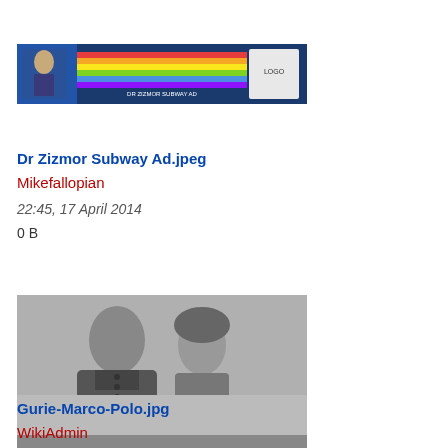[Figure (screenshot): Thumbnail of Dr Zizmor Subway Ad — a colorful banner-style subway advertisement image]
Dr Zizmor Subway Ad.jpeg
Mikefallopian
22:45, 17 April 2014
0 B
[Figure (photo): Black and white photograph of two people, resembling a vintage film still — Gurie-Marco-Polo.jpg]
Gurie-Marco-Polo.jpg
WikiAdmin